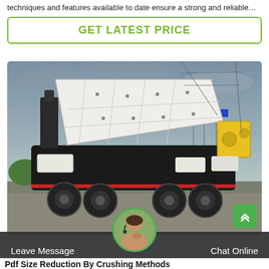techniques and features available to date ensure a strong and reliable…
GET LATEST PRICE
[Figure (photo): Large industrial mobile crushing/screening machine mounted on a truck chassis, black and white colored, parked outdoors with flags and trees in background under a cloudy sky.]
Leave Message
Chat Online
Pdf Size Reduction By Crushing Methods